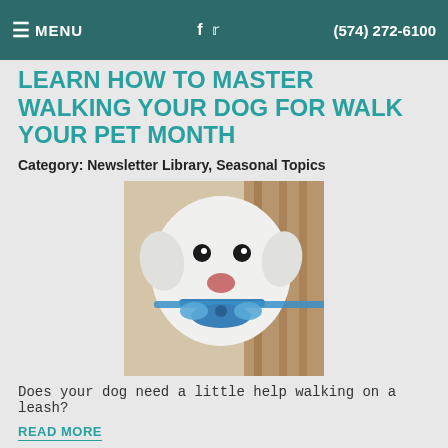≡ MENU  f  🐦  (574) 272-6100
LEARN HOW TO MASTER WALKING YOUR DOG FOR WALK YOUR PET MONTH
Category: Newsletter Library, Seasonal Topics
[Figure (photo): White dog holding a blue leash in its mouth, standing in front of a wooden background]
Does your dog need a little help walking on a leash?
READ MORE
BRINGING A NEW PET IN THE HOME IN THE NEW YEAR
Category: Newsletter Library, Seasonal Topics